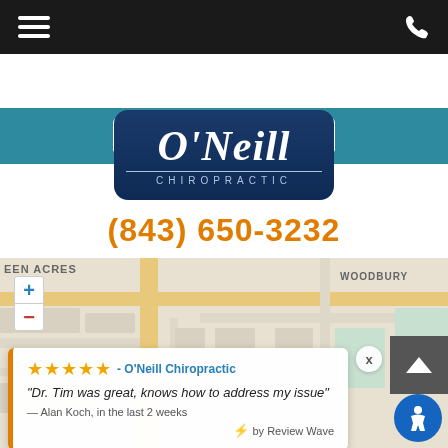[Figure (screenshot): Mobile app top bar with hamburger menu icon on the left and phone icon on the right, dark background]
[Figure (screenshot): Teal social media bar with Facebook, Twitter, YouTube, LinkedIn, and Google+ icons]
[Figure (logo): O'Neill Chiropractic logo — dark navy rounded rectangle with italic white text]
(843) 650-3232
[Figure (map): Google Maps partial view showing street map with EEN ACRES label on left and WOODBURY label on right, with zoom controls and a review card overlay. Review card shows 5 stars - O'Neill Chiropractic, quote 'Dr. Tim was great, knows how to address my issue', attributed to Alan Koch, in the last 2 weeks, by Review Wave.]